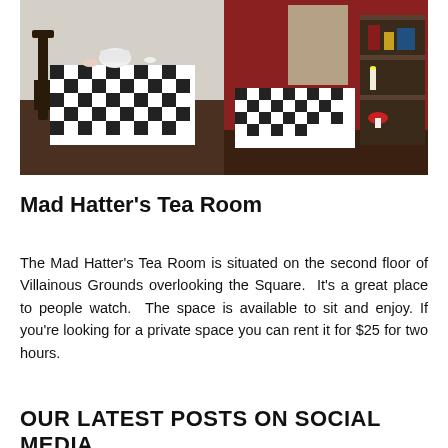[Figure (photo): Two photos of the Mad Hatter's Tea Room interior side by side: left shows a table with black and white checkered tablecloth and a wooden chair; right shows a table with checkered tablecloth against a red wall with a shelving unit and candle.]
Mad Hatter's Tea Room
The Mad Hatter's Tea Room is situated on the second floor of Villainous Grounds overlooking the Square.  It's a great place to people watch.  The space is available to sit and enjoy. If you're looking for a private space you can rent it for $25 for two hours.
OUR LATEST POSTS ON SOCIAL MEDIA